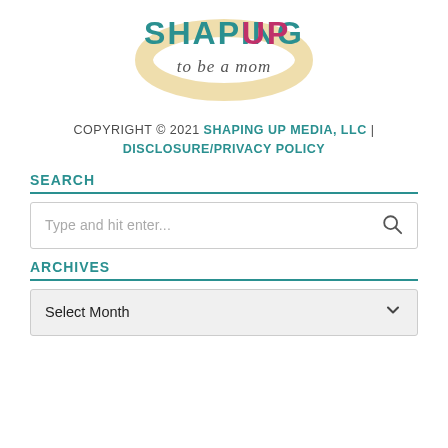[Figure (logo): Shaping Up to be a Mom logo — stylized text 'SHAPING UP' in teal and pink block letters above cursive 'to be a mom', with a circular ring/halo shape behind the text.]
COPYRIGHT © 2021 SHAPING UP MEDIA, LLC | DISCLOSURE/PRIVACY POLICY
SEARCH
[Figure (screenshot): Search input box with placeholder text 'Type and hit enter...' and a magnifying glass icon on the right.]
ARCHIVES
[Figure (screenshot): Dropdown select box showing 'Select Month' with a down chevron arrow on the right.]